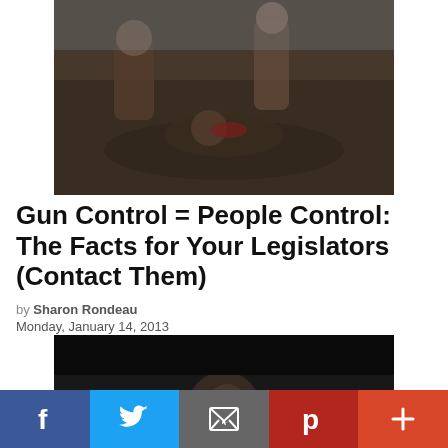[Figure (photo): Historical painting depicting a battle or conflict scene with figures on the ground]
Gun Control = People Control: The Facts for Your Legislators (Contact Them)
by Sharon Rondeau
Monday, January 14, 2013
[Figure (photo): Dark portrait photo of a person, partially visible against dark background]